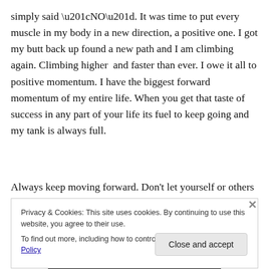simply said “NO”. It was time to put every muscle in my body in a new direction, a positive one. I got my butt back up found a new path and I am climbing again. Climbing higher  and faster than ever. I owe it all to positive momentum. I have the biggest forward momentum of my entire life. When you get that taste of success in any part of your life its fuel to keep going and my tank is always full.
Always keep moving forward. Don’t let yourself or others hold you back. Set up some goals to get the ball rolling on
Privacy & Cookies: This site uses cookies. By continuing to use this website, you agree to their use.
To find out more, including how to control cookies, see here: Cookie Policy
Close and accept